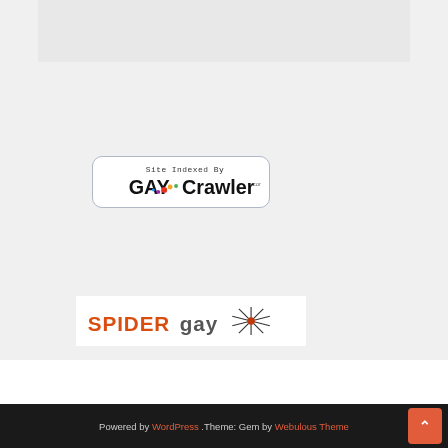[Figure (logo): Gray rectangular image placeholder at top]
[Figure (logo): GayCrawler.com Site Indexed By badge with rounded border]
[Figure (logo): SpiderGay logo with orange/red text and spider asterisk icon]
[Figure (logo): Toronto Sports Alliance logo - orange/red background with gold circle and pink triangle]
Powered by WordPress .Theme: Gem by Webulous Theme